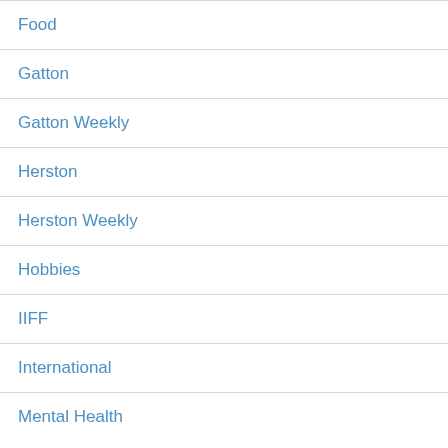Food
Gatton
Gatton Weekly
Herston
Herston Weekly
Hobbies
IIFF
International
Mental Health